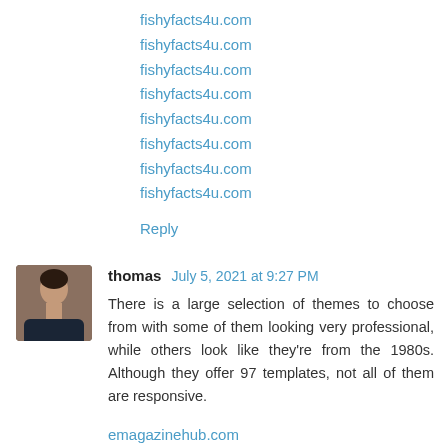fishyfacts4u.com
fishyfacts4u.com
fishyfacts4u.com
fishyfacts4u.com
fishyfacts4u.com
fishyfacts4u.com
fishyfacts4u.com
fishyfacts4u.com
Reply
thomas July 5, 2021 at 9:27 PM
There is a large selection of themes to choose from with some of them looking very professional, while others look like they’re from the 1980s. Although they offer 97 templates, not all of them are responsive.
emagazinehub.com
emagazinehub.com
emagazinehub.com
emagazinehub.com
emagazinehub.com